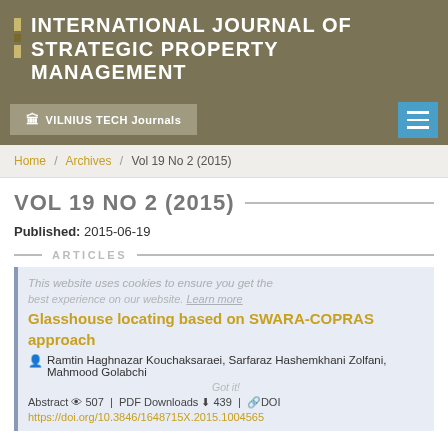INTERNATIONAL JOURNAL of STRATEGIC PROPERTY MANAGEMENT
VILNIUS TECH Journals
Home / Archives / Vol 19 No 2 (2015)
VOL 19 NO 2 (2015)
Published: 2015-06-19
ARTICLES
Glasshouse locating based on SWARA-COPRAS approach
Ramtin Haghnazar Kouchaksaraei, Sarfaraz Hashemkhani Zolfani, Mahmood Golabchi
Abstract 507 | PDF Downloads 439 | DOI
https://doi.org/10.3846/1648715X.2015.1004565